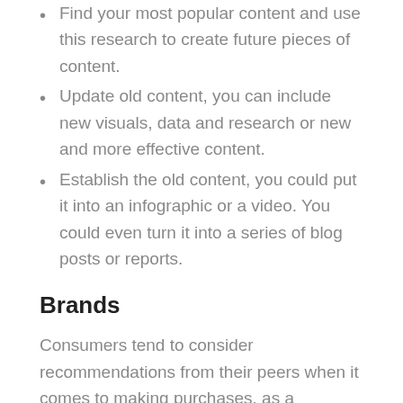Find your most popular content and use this research to create future pieces of content.
Update old content, you can include new visuals, data and research or new and more effective content.
Establish the old content, you could put it into an infographic or a video. You could even turn it into a series of blog posts or reports.
Brands
Consumers tend to consider recommendations from their peers when it comes to making purchases, as a business, your own customers are a very powerful resource, especially when it comes to reaching new audiences and driving conversions. You should make sure that you are making the most of your brand advocates and are creating campaigns to help improve and spread the message. You could offer